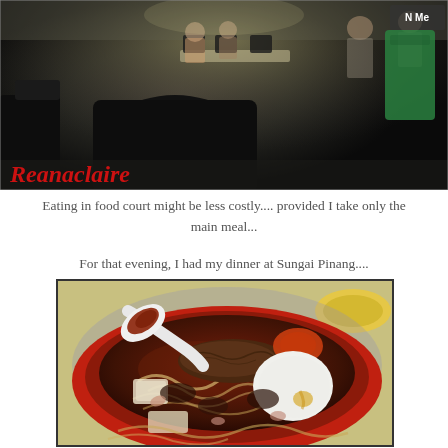[Figure (photo): Food court scene with tables, chairs, people seated, green container on right, dark interior setting. Red italic watermark text 'Reanaclaire' in bottom-left of photo.]
Eating in food court might be less costly.... provided I take only the main meal...
For that evening, I had my dinner at Sungai Pinang....
[Figure (photo): Close-up photo of a bowl of Penang laksa or curry mee in a red bowl. The soup is dark reddish-brown with noodles, a white egg, fried shallots on top, and a white plastic spoon holding a dark paste or sambal. A yellow plate is visible in the background.]